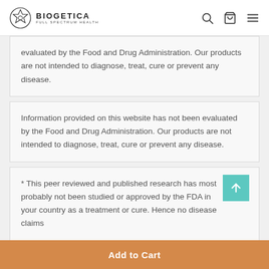BIOGETICA FULL SPECTRUM HEALTH
evaluated by the Food and Drug Administration. Our products are not intended to diagnose, treat, cure or prevent any disease.
Information provided on this website has not been evaluated by the Food and Drug Administration. Our products are not intended to diagnose, treat, cure or prevent any disease.
* This peer reviewed and published research has most probably not been studied or approved by the FDA in your country as a treatment or cure. Hence no disease claims
Add to Cart